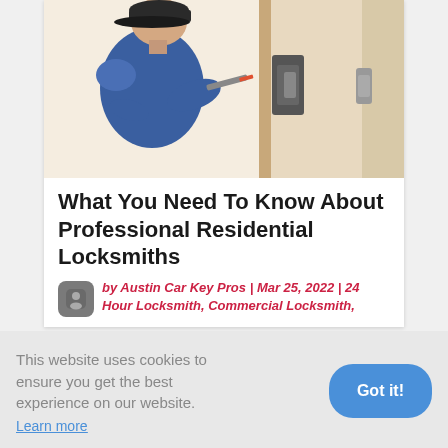[Figure (photo): A locksmith in a blue uniform working on a door lock mechanism, installing or repairing a deadbolt on a white door.]
What You Need To Know About Professional Residential Locksmiths
by Austin Car Key Pros | Mar 25, 2022 | 24 Hour Locksmith, Commercial Locksmith,
This website uses cookies to ensure you get the best experience on our website.
Learn more
Got it!